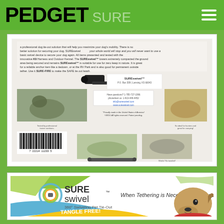PEDGET SUREswivel
[Figure (photo): Back of SUREswivel 360-degree swiveling pet tie-out product box showing product images, contact information, barcode, and photos of dogs using the product]
[Figure (photo): SUREswivel product banner with logo, tagline 'When Tethering is Necessary, Be Sure.', '360° Swiveling Pet Tie-Out', 'TANGLE FREE!' text, and image of a yellow Labrador dog]